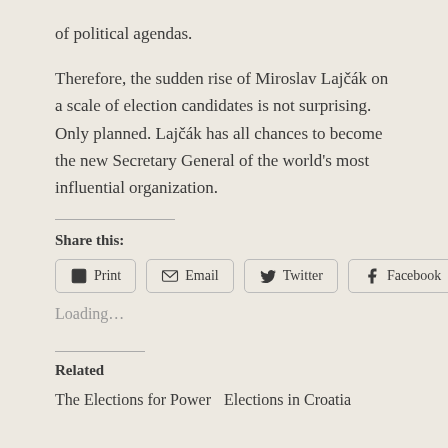of political agendas.
Therefore, the sudden rise of Miroslav Lajčák on a scale of election candidates is not surprising. Only planned. Lajčák has all chances to become the new Secretary General of the world's most influential organization.
Share this:
Print  Email  Twitter  Facebook
Loading…
Related
The Elections for Power
Elections in Croatia